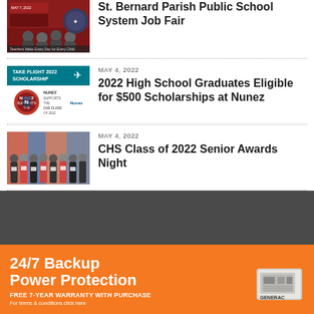[Figure (photo): St. Bernard Parish Public School System Job Fair thumbnail — group photo with red/dark background]
St. Bernard Parish Public School System Job Fair
[Figure (photo): Take Flight 2022 Scholarship promotional image with teal/blue header and Nunez Supports the CHS Class of 2022 logo]
MAY 4, 2022
2022 High School Graduates Eligible for $500 Scholarships at Nunez
[Figure (photo): CHS Class of 2022 Senior Awards Night — group of students holding certificates on a stage]
MAY 4, 2022
CHS Class of 2022 Senior Awards Night
[Figure (other): 24/7 Backup Power Protection advertisement banner — orange background, Generac generator image, FREE 7-YEAR WARRANTY WITH PURCHASE]